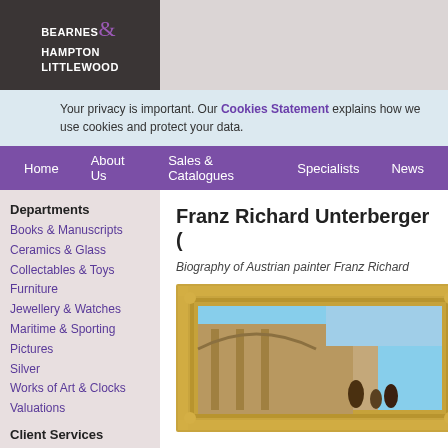[Figure (logo): Bearnes Hampton & Littlewood auction house logo — white text on dark grey background with purple ampersand]
Your privacy is important. Our Cookies Statement explains how we use cookies and protect your data.
Home  About Us  Sales & Catalogues  Specialists  News
Departments
Books & Manuscripts
Ceramics & Glass
Collectables & Toys
Furniture
Jewellery & Watches
Maritime & Sporting
Pictures
Silver
Works of Art & Clocks
Valuations
Client Services
Advice
Research
Franz Richard Unterberger (
Biography of Austrian painter Franz Richard
[Figure (photo): Painting of an Italian street scene in an ornate gold frame, partially visible]